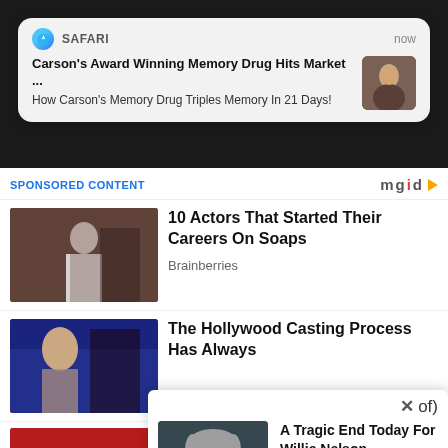[Figure (screenshot): Safari browser push notification showing: 'Carson's Award Winning Memory Drug Hits Market ...' / 'How Carson's Memory Drug Triples Memory In 21 Days!' with a thumbnail of a person]
SPONSORED CONTENT
[Figure (logo): mgid logo with orange play triangle]
[Figure (photo): Photo of actress on stage in period costume]
10 Actors That Started Their Careers On Soaps
Brainberries
[Figure (photo): Photo of two people in what appears to be a dramatic scene]
The Hollywood Casting Process Has Always
[Figure (screenshot): Popup ad with photo of Willie Nelson and text: 'A Tragic End Today For Willie Nelson' / 'Breaking News' with X close button]